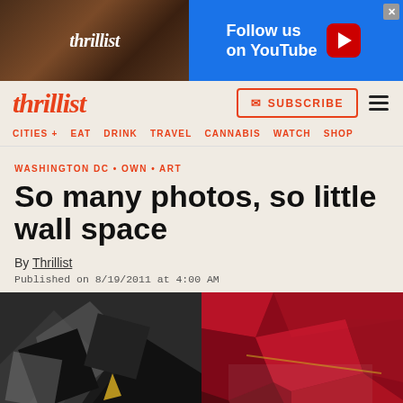[Figure (screenshot): Thrillist YouTube advertisement banner with logo photo and blue Follow us on YouTube button]
thrillist
CITIES + EAT DRINK TRAVEL CANNABIS WATCH SHOP
WASHINGTON DC • OWN • ART
So many photos, so little wall space
By Thrillist
Published on 8/19/2011 at 4:00 AM
[Figure (photo): Two collage art photos side by side - left shows black geometric shapes, right shows red fragmented concert/event image]